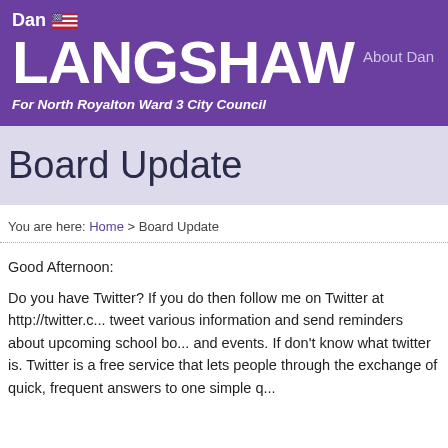Dan LANGSHAW For North Royalton Ward 3 City Council | About Dan
Board Update
You are here: Home > Board Update
Good Afternoon:
Do you have Twitter? If you do then follow me on Twitter at http://twitter.c... tweet various information and send reminders about upcoming school bo... and events. If don't know what twitter is. Twitter is a free service that lets people through the exchange of quick, frequent answers to one simple q...